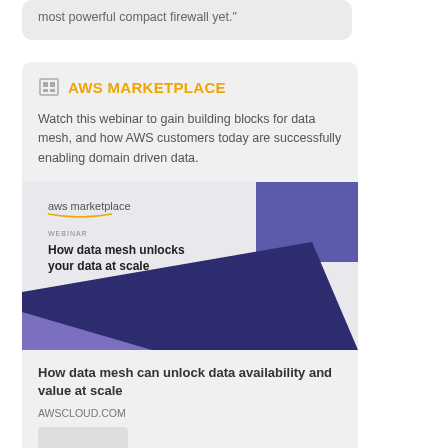most powerful compact firewall yet."
AWS MARKETPLACE
Watch this webinar to gain building blocks for data mesh, and how AWS customers today are successfully enabling domain driven data.
[Figure (illustration): AWS Marketplace webinar promotional image showing 'How data mesh unlocks your data at scale' with geometric blue/purple shapes]
How data mesh can unlock data availability and value at scale
AWSCLOUD.COM